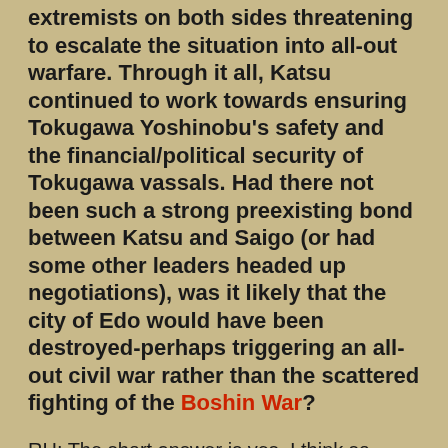extremists on both sides threatening to escalate the situation into all-out warfare. Through it all, Katsu continued to work towards ensuring Tokugawa Yoshinobu's safety and the financial/political security of Tokugawa vassals. Had there not been such a strong preexisting bond between Katsu and Saigo (or had some other leaders headed up negotiations), was it likely that the city of Edo would have been destroyed-perhaps triggering an all-out civil war rather than the scattered fighting of the Boshin War?
RH: The short answer is yes, I think so. Katsu Kaishu himself stated as much in his narrative, Kainanroku, which he wrote in 1884. And later in the 1890's in an interview he said that had the Imperial Army sent anyone other than Saigo to speak with him, that person would have laid the blame for the dangerous